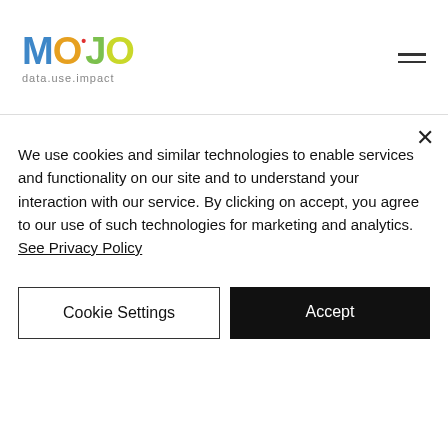MOJO data.use.impact
Business Growth
Business Insight
Data driven marketing
Data literacy
Data Strategy • Customer Insight • Insight
We use cookies and similar technologies to enable services and functionality on our site and to understand your interaction with our service. By clicking on accept, you agree to our use of such technologies for marketing and analytics. See Privacy Policy
Cookie Settings
Accept